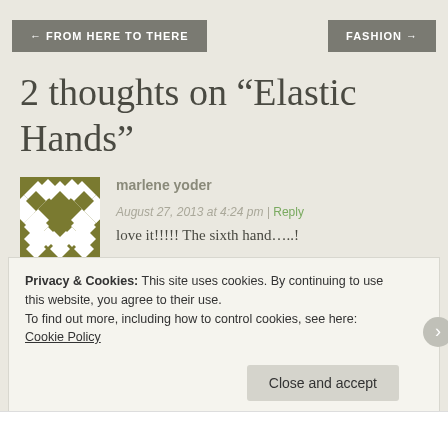← FROM HERE TO THERE | FASHION →
2 thoughts on “Elastic Hands”
[Figure (illustration): Square avatar with olive/dark yellow geometric diamond lattice pattern on white background]
marlene yoder
August 27, 2013 at 4:24 pm | Reply
love it!!!!! The sixth hand.....!
Privacy & Cookies: This site uses cookies. By continuing to use this website, you agree to their use.
To find out more, including how to control cookies, see here: Cookie Policy
Close and accept